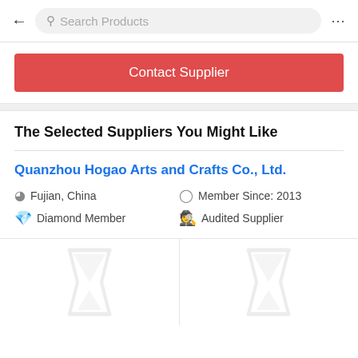← Search Products ...
Contact Supplier
The Selected Suppliers You Might Like
Quanzhou Hogao Arts and Crafts Co., Ltd.
Fujian, China   Member Since: 2013   Diamond Member   Audited Supplier
[Figure (other): Two placeholder product image cells with hourglass loading icons]